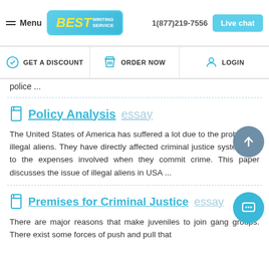Menu | BEST WRITING SERVICE | 1(877)219-7556 | Live chat
GET A DISCOUNT | ORDER NOW | LOGIN
police ...
Policy Analysis essay
The United States of America has suffered a lot due to the problem of illegal aliens. They have directly affected criminal justice system due to the expenses involved when they commit crime. This paper discusses the issue of illegal aliens in USA ...
Premises for Criminal Justice essay
There are major reasons that make juveniles to join gang groups. There exist some forces of push and pull that